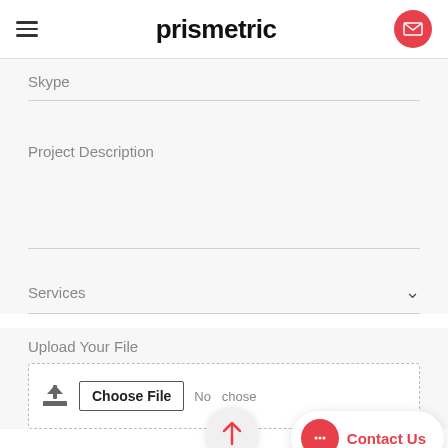prismetric
Skype
Project Description
Services
Upload Your File
Choose File  No file chosen
Contact Us